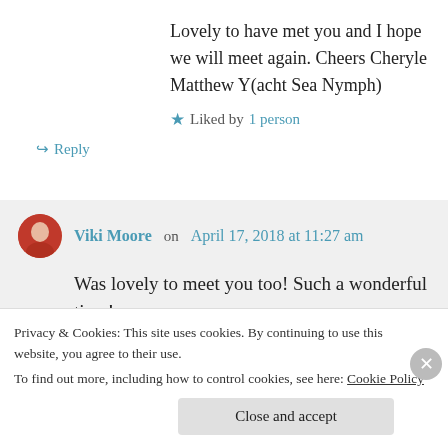Lovely to have met you and I hope we will meet again. Cheers Cheryle Matthew Y(acht Sea Nymph)
★ Liked by 1 person
↳ Reply
Viki Moore on April 17, 2018 at 11:27 am
Was lovely to meet you too! Such a wonderful time! xx
Privacy & Cookies: This site uses cookies. By continuing to use this website, you agree to their use. To find out more, including how to control cookies, see here: Cookie Policy